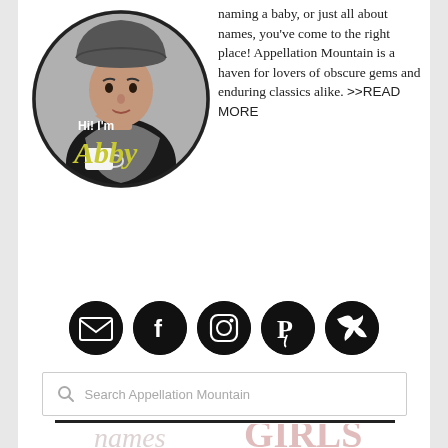[Figure (photo): Circular portrait photo of a woman wearing a gray hat and gray scarf, with text overlay 'Hi! I'm Abby' in black and yellow italic font]
naming a baby, or just all about names, you've come to the right place! Appellation Mountain is a haven for lovers of obscure gems and enduring classics alike. >>READ MORE
[Figure (infographic): Row of 5 social media icon buttons (email, Facebook, Instagram, Pinterest, Twitter) as white icons on black circles]
Search Appellation Mountain
[Figure (infographic): Bottom decorative text showing 'names for GIRLS' with stylized typography, partially visible]